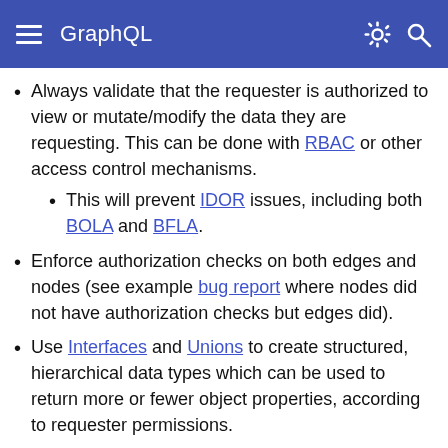GraphQL
Always validate that the requester is authorized to view or mutate/modify the data they are requesting. This can be done with RBAC or other access control mechanisms.
This will prevent IDOR issues, including both BOLA and BFLA.
Enforce authorization checks on both edges and nodes (see example bug report where nodes did not have authorization checks but edges did).
Use Interfaces and Unions to create structured, hierarchical data types which can be used to return more or fewer object properties, according to requester permissions.
Query and Mutation Resolvers can be used to perform access control validation, possibly using some RBAC